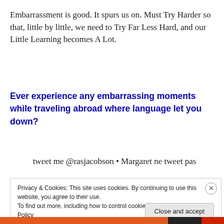Embarrassment is good. It spurs us on. Must Try Harder so that, little by little, we need to Try Far Less Hard, and our Little Learning becomes A Lot.
Ever experience any embarrassing moments while traveling abroad where language let you down?
tweet me @rasjacobson • Margaret ne tweet pas
Privacy & Cookies: This site uses cookies. By continuing to use this website, you agree to their use.
To find out more, including how to control cookies, see here: Cookie Policy
Close and accept